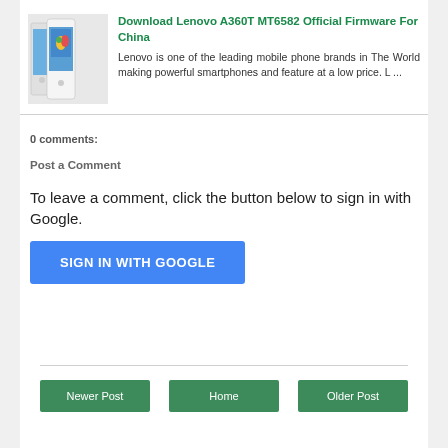[Figure (screenshot): Lenovo A360T phone image - white smartphones]
Download Lenovo A360T MT6582 Official Firmware For China
Lenovo is one of the leading mobile phone brands in The World making powerful smartphones and feature at a low price. L ...
0 comments:
Post a Comment
To leave a comment, click the button below to sign in with Google.
[Figure (screenshot): SIGN IN WITH GOOGLE button]
Newer Post | Home | Older Post